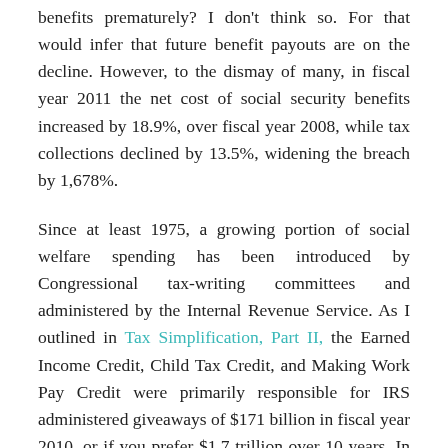benefits prematurely? I don't think so. For that would infer that future benefit payouts are on the decline. However, to the dismay of many, in fiscal year 2011 the net cost of social security benefits increased by 18.9%, over fiscal year 2008, while tax collections declined by 13.5%, widening the breach by 1,678%.
Since at least 1975, a growing portion of social welfare spending has been introduced by Congressional tax-writing committees and administered by the Internal Revenue Service. As I outlined in Tax Simplification, Part II, the Earned Income Credit, Child Tax Credit, and Making Work Pay Credit were primarily responsible for IRS administered giveaways of $171 billion in fiscal year 2010, or if you prefer $1.7 trillion over 10 years. In fiscal year 2011 the amount was upped to $231 billion per year, due to the payroll tax cut. And today, some